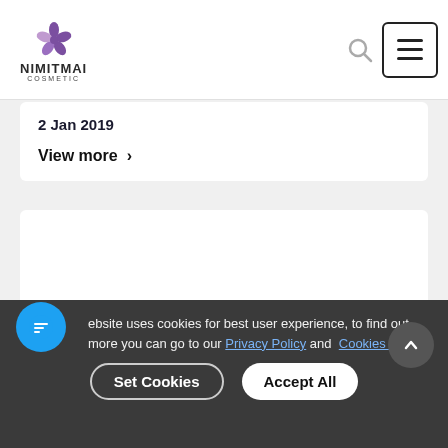NIMITMAI COSMETIC
2 Jan 2019
View more >
[Figure (other): White content card placeholder]
This website uses cookies for best user experience, to find out more you can go to our Privacy Policy and Cookies Policy
Set Cookies   Accept All